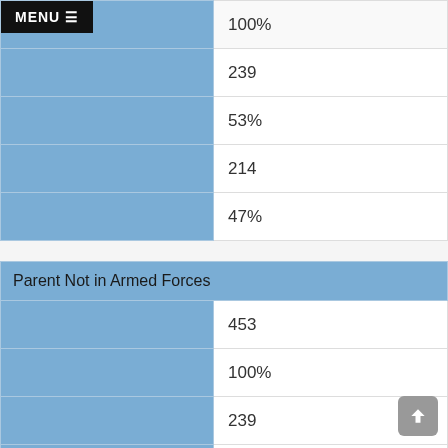| Category | Value |
| --- | --- |
|  | 100% |
|  | 239 |
|  | 53% |
|  | 214 |
|  | 47% |
| Parent Not in Armed Forces |  |
|  | 453 |
|  | 100% |
|  | 239 |
|  | 53% |
|  | 214 |
|  | 47% |